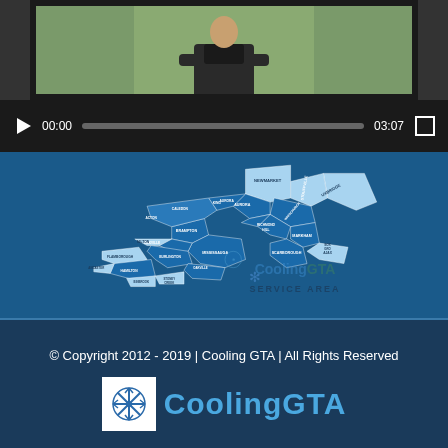[Figure (screenshot): Video player showing a person holding a camera, with play button, timestamp 00:00, progress bar, and end time 03:07, fullscreen button]
[Figure (map): CoolingGTA Service Area map showing regions of Greater Toronto Area including Newmarket, Stouffville, Whitchurch, Aurora, Uxbridge, Richmond Hill, Markham, King, Brampton, Caledon, Mississauga, Milton, Oakville, Burlington, Hamilton, Ancaster, Flamborough, Dundas, Stoney Creek, Binbrook, Scarborough]
© Copyright 2012 - 2019 | Cooling GTA | All Rights Reserved
[Figure (logo): CoolingGTA logo with snowflake icon in white box and blue CoolingGTA text]